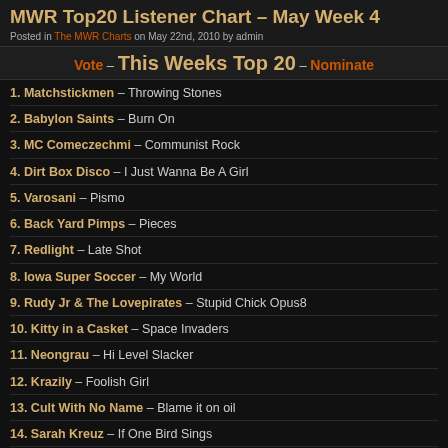MWR Top20 Listener Chart – May Week 4
Posted in The MWR Charts on May 22nd, 2010 by admin
Vote – This Weeks Top 20 – Nominate
1. Matchstickmen – Throwing Stones
2. Babylon Saints – Burn On
3. MC Comeczechmi – Communist Rock
4. Dirt Box Disco – I Just Wanna Be A Girl
5. Varosani – Pismo
6. Back Yard Pimps – Pieces
7. Redlight – Late Shot
8. Iowa Super Soccer – My World
9. Rudy Jr & The Lovepirates – Stupid Chick Opus8
10. Kitty in a Casket – Space Invaders
11. Neongrau – Hi Level Slacker
12. Krazily – Foolish Girl
13. Cult With No Name – Blame it on oil
14. Sarah Kreuz – If One Bird Sings
15. Delayed – Impossible Dream